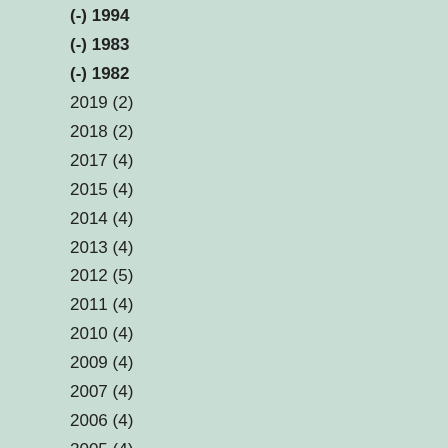(-) 1994
(-) 1983
(-) 1982
2019 (2)
2018 (2)
2017 (4)
2015 (4)
2014 (4)
2013 (4)
2012 (5)
2011 (4)
2010 (4)
2009 (4)
2007 (4)
2006 (4)
2005 (4)
2004 (5)
2003 (4)
2002 (2)